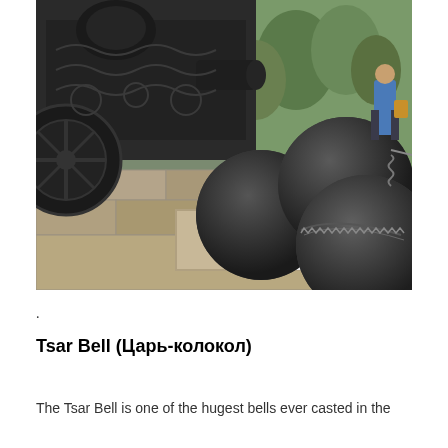[Figure (photo): Photograph of large dark cannonballs displayed in front of an ornate cast iron cannon carriage. The cannonballs are spherical and dark grey/black, resting on white gravel in a stone-bordered display. Background shows trees and a person in a blue jacket.]
.
Tsar Bell (Царь-колокол)
The Tsar Bell is one of the hugest bells ever casted in the